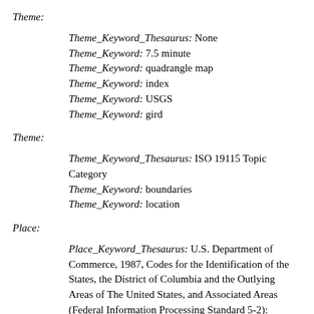Theme:
Theme_Keyword_Thesaurus: None
Theme_Keyword: 7.5 minute
Theme_Keyword: quadrangle map
Theme_Keyword: index
Theme_Keyword: USGS
Theme_Keyword: gird
Theme:
Theme_Keyword_Thesaurus: ISO 19115 Topic Category
Theme_Keyword: boundaries
Theme_Keyword: location
Place:
Place_Keyword_Thesaurus: U.S. Department of Commerce, 1987, Codes for the Identification of the States, the District of Columbia and the Outlying Areas of The United States, and Associated Areas (Federal Information Processing Standard 5-2): Washington, DC, National Institute of Standards and Technology.
Place_Keyword: Connecticut